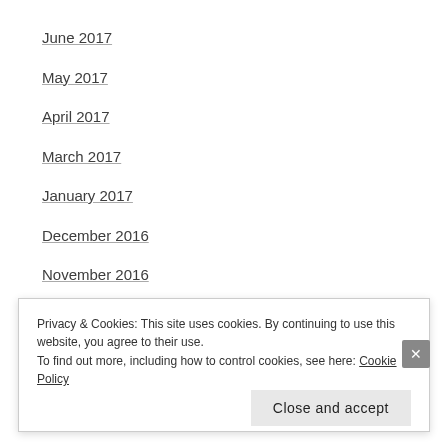June 2017
May 2017
April 2017
March 2017
January 2017
December 2016
November 2016
October 2016
September 2016
Privacy & Cookies: This site uses cookies. By continuing to use this website, you agree to their use.
To find out more, including how to control cookies, see here: Cookie Policy
Close and accept